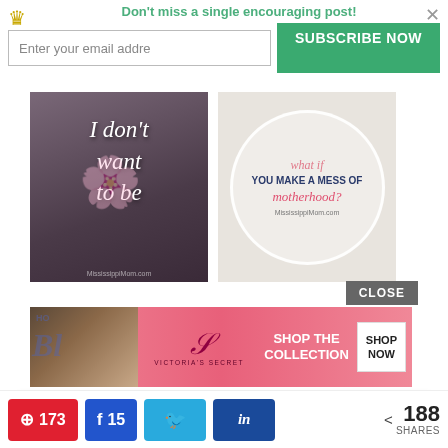Don't miss a single encouraging post!
Enter your email addre
SUBSCRIBE NOW
[Figure (photo): Left photo: person holding flower with italic white text overlay reading 'I don't want to be', MississippiMom.com watermark]
[Figure (photo): Right photo: circular text overlay on craft/baking background reading 'what if YOU MAKE A MESS OF motherhood?' with MississippiMom.com text]
CLOSE
[Figure (photo): Victoria's Secret advertisement banner with model photo, VS logo, 'SHOP THE COLLECTION' text, and 'SHOP NOW' button]
Privacy & Cookies: This site uses cookies. By continuing to use this website, you agree to their use.
To find out more, including how to control cookies, see here: Cookie Policy
173
15
< 188
SHARES